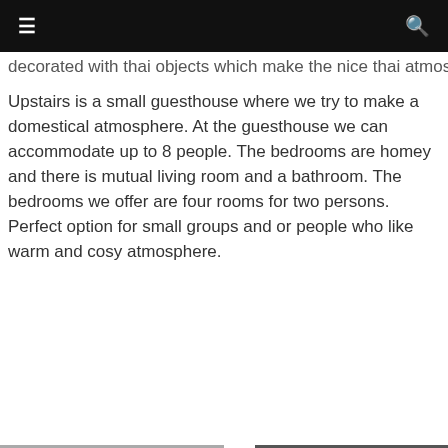≡  🔍
decorated with thai objects which make the nice thai atmosphere.
Upstairs is a small guesthouse where we try to make a domestical atmosphere. At the guesthouse we can accommodate up to 8 people. The bedrooms are homey and there is mutual living room and a bathroom. The bedrooms we offer are four rooms for two persons.
Perfect option for small groups and or people who like warm and cosy atmosphere.